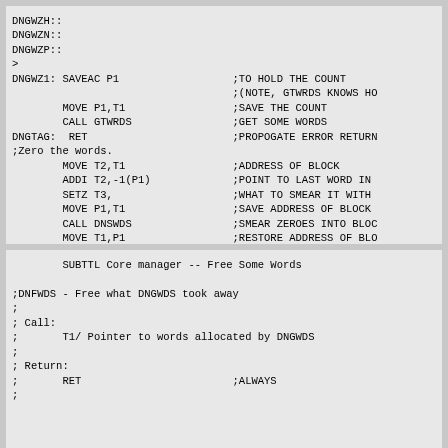DNGWZH::
DNGWZN::
DNGWZP::
>
DNGWZ1: SAVEAC P1                  ;TO HOLD THE COUNT
                                   ;(NOTE, GTWRDS KNOWS HO
        MOVE P1,T1                 ;SAVE THE COUNT
        CALL GTWRDS                ;GET SOME WORDS
DNGTAG:  RET                       ;PROPOGATE ERROR RETURN
;Zero the words.
        MOVE T2,T1                 ;ADDRESS OF BLOCK
        ADDI T2,-1(P1)             ;POINT TO LAST WORD IN
        SETZ T3,                   ;WHAT TO SMEAR IT WITH
        MOVE P1,T1                 ;SAVE ADDRESS OF BLOCK
        CALL DNSWDS                ;SMEAR ZEROES INTO BLOC
        MOVE T1,P1                 ;RESTORE ADDRESS OF BLO
        RETSKP                     ; AND GIVE GOOD RETURN
SUBTTL Core manager -- Free Some Words

;DNFWDS - Free what DNGWDS took away
;
; Call:
;       T1/ Pointer to words allocated by DNGWDS
;
; Return:
;       RET                        ;ALWAYS
;